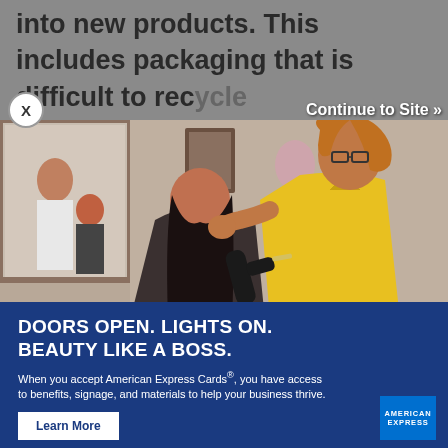into new products. This includes packaging that is difficult to recycle
[Figure (photo): Advertisement overlay showing a hairstylist in yellow shirt blow-drying client's hair in a salon, with 'Continue to Site »' link and X close button visible at top]
DOORS OPEN. LIGHTS ON. BEAUTY LIKE A BOSS.
When you accept American Express Cards®, you have access to benefits, signage, and materials to help your business thrive.
Learn More
dark plastics to a Take Back Box means